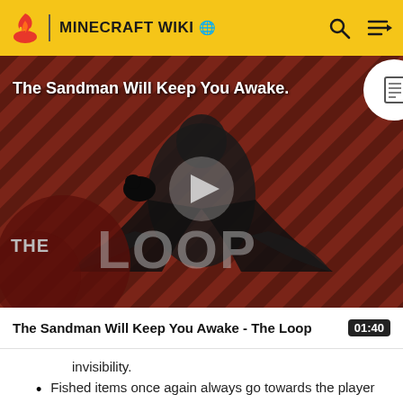MINECRAFT WIKI
[Figure (screenshot): Video thumbnail for 'The Sandman Will Keep You Awake - The Loop' showing a dark-cloaked figure against a red diagonal-striped background, with a play button in the center and 'THE LOOP' text overlay at the bottom left.]
The Sandman Will Keep You Awake - The Loop
01:40
invisibility.
Fished items once again always go towards the player when being reeled in.